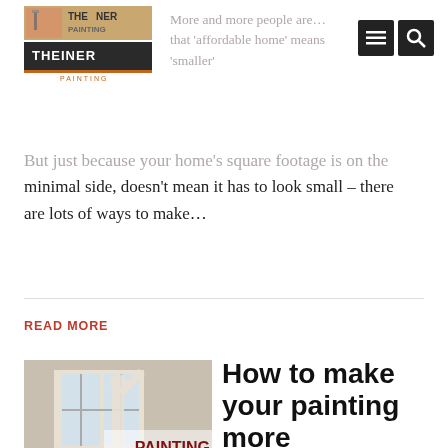Theiner Painting logo and navigation
More and more people are... that 'affordable home' means 'smaller'... But just because your home's square footage is on the minimal side, doesn't mean it has to look small – there are lots of ways to make…
READ MORE
[Figure (photo): A painter in a room with windows, overlaid with text 'PAINTING PRO TIPS']
How to make your painting more environmentally